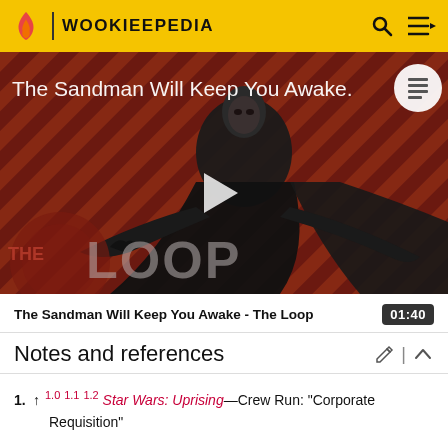WOOKIEEPEDIA
[Figure (screenshot): Video thumbnail for 'The Sandman Will Keep You Awake - The Loop' showing a dark-cloaked figure against a red diagonal-striped background with THE LOOP badge overlay and a play button in the center.]
The Sandman Will Keep You Awake - The Loop  01:40
Notes and references
1. ↑ 1.0 1.1 1.2 Star Wars: Uprising—Crew Run: "Corporate Requisition"